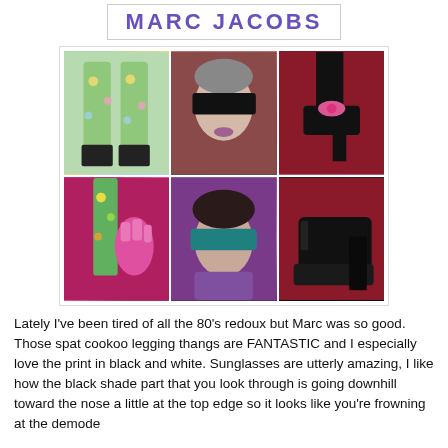[Figure (logo): Marc Jacobs logo in purple/blue text, inside a bordered rectangle]
[Figure (photo): A 3x2 collage of Marc Jacobs fashion show photos: floral leggings/boots, model with oversized black sunglasses, black platform heel with pink bow, pink glove with floral leggings, model with teal sunglasses, large black platform heel]
Lately I've been tired of all the 80's redoux but Marc was so good. Those spat cookoo legging thangs are FANTASTIC and I especially love the print in black and white. Sunglasses are utterly amazing, I like how the black shade part that you look through is going downhill toward the nose a little at the top edge so it looks like you're frowning at the demode